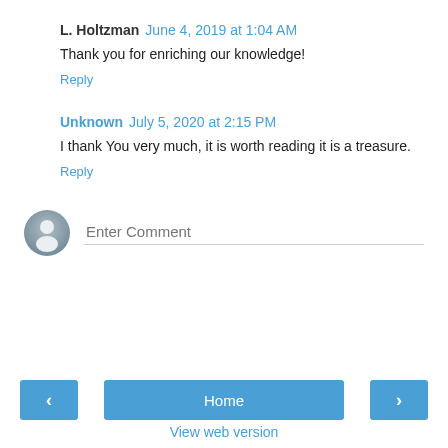L. Holtzman  June 4, 2019 at 1:04 AM
Thank you for enriching our knowledge!
Reply
Unknown  July 5, 2020 at 2:15 PM
I thank You very much, it is worth reading it is a treasure.
Reply
Enter Comment
Home
View web version